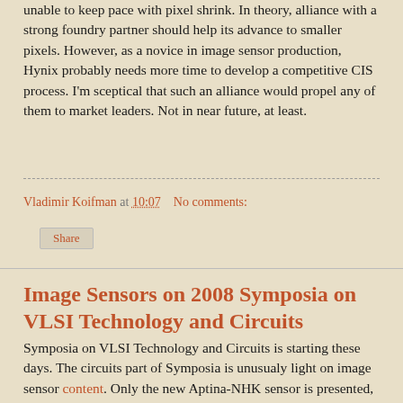unable to keep pace with pixel shrink. In theory, alliance with a strong foundry partner should help its advance to smaller pixels. However, as a novice in image sensor production, Hynix probably needs more time to develop a competitive CIS process. I'm sceptical that such an alliance would propel any of them to market leaders. Not in near future, at least.
Vladimir Koifman at 10:07   No comments:
Share
Image Sensors on 2008 Symposia on VLSI Technology and Circuits
Symposia on VLSI Technology and Circuits is starting these days. The circuits part of Symposia is unusualy light on image sensor content. Only the new Aptina-NHK sensor is presented, but its performance is quite good. Only full well is a bit on the lower side, considering large pixel size of this sensor, and the dark current is not mentioned in the abstract: